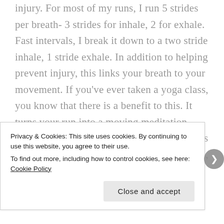injury.  For most of my runs, I run 5 strides per breath- 3 strides for inhale, 2 for exhale.  Fast intervals, I break it down to a two stride inhale, 1 stride exhale.  In addition to helping prevent injury, this links your breath to your movement.  If you've ever taken a yoga class, you know that there is a benefit to this.  It turns your run into a moving meditation.  Studies have shown that brining mindfulness to exercise result in more positive hormones, and better satisfaction performing exercise.  Remember to breath. You can't run without your breath, and you might actually like
Privacy & Cookies: This site uses cookies. By continuing to use this website, you agree to their use.
To find out more, including how to control cookies, see here: Cookie Policy
Close and accept